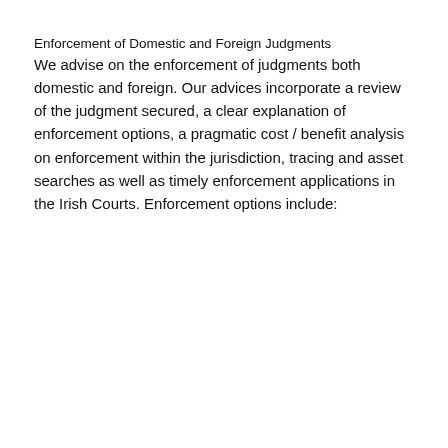Enforcement of Domestic and Foreign Judgments
We advise on the enforcement of judgments both domestic and foreign. Our advices incorporate a review of the judgment secured, a clear explanation of enforcement options, a pragmatic cost / benefit analysis on enforcement within the jurisdiction, tracing and asset searches as well as timely enforcement applications in the Irish Courts. Enforcement options include: